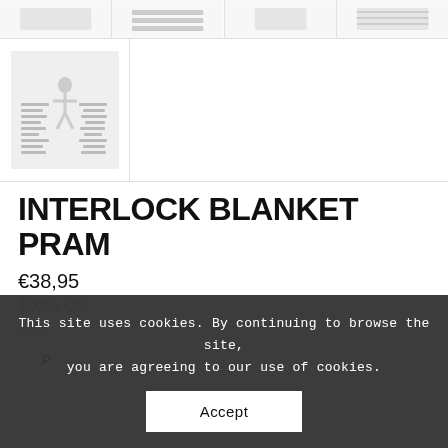[Figure (photo): Row of product thumbnail images at top of page, partially visible]
[Figure (photo): Larger product thumbnail showing interlock blanket with stripe pattern and small figure illustration on light grey background]
INTERLOCK BLANKET PRAM
€38,95
100% CO
SIZE
P
This site uses cookies. By continuing to browse the site, you are agreeing to our use of cookies.
Accept